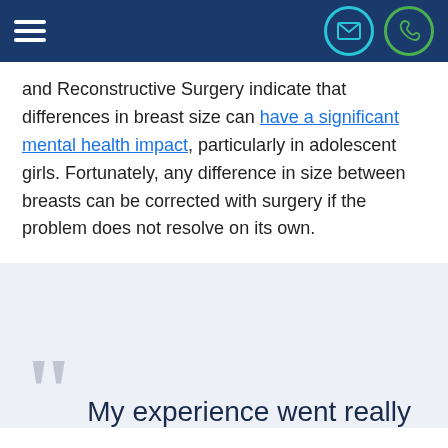navigation header with hamburger menu, email icon, and phone icon
and Reconstructive Surgery indicate that differences in breast size can have a significant mental health impact, particularly in adolescent girls. Fortunately, any difference in size between breasts can be corrected with surgery if the problem does not resolve on its own.
My experience went really